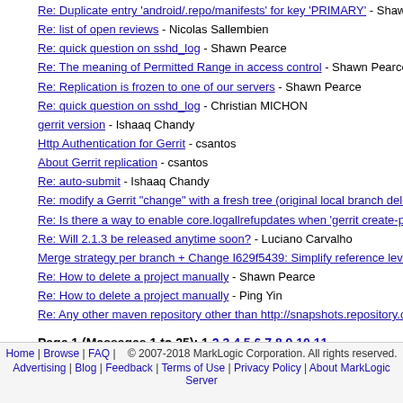Re: Duplicate entry 'android/.repo/manifests' for key 'PRIMARY' - Shaw
Re: list of open reviews - Nicolas Sallembien
Re: quick question on sshd_log - Shawn Pearce
Re: The meaning of Permitted Range in access control - Shawn Pearce
Re: Replication is frozen to one of our servers - Shawn Pearce
Re: quick question on sshd_log - Christian MICHON
gerrit version - Ishaaq Chandy
Http Authentication for Gerrit - csantos
About Gerrit replication - csantos
Re: auto-submit - Ishaaq Chandy
Re: modify a Gerrit "change" with a fresh tree (original local branch dele
Re: Is there a way to enable core.logallrefupdates when 'gerrit create-p
Re: Will 2.1.3 be released anytime soon? - Luciano Carvalho
Merge strategy per branch + Change I629f5439: Simplify reference leve
Re: How to delete a project manually - Shawn Pearce
Re: How to delete a project manually - Ping Yin
Re: Any other maven repository other than http://snapshots.repository.c
Page 1 (Messages 1 to 25): 1 2 3 4 5 6 7 8 9 10 11
Home | Browse | FAQ | © 2007-2018 MarkLogic Corporation. All rights reserved. Advertising | Blog | Feedback | Terms of Use | Privacy Policy | About MarkLogic Server